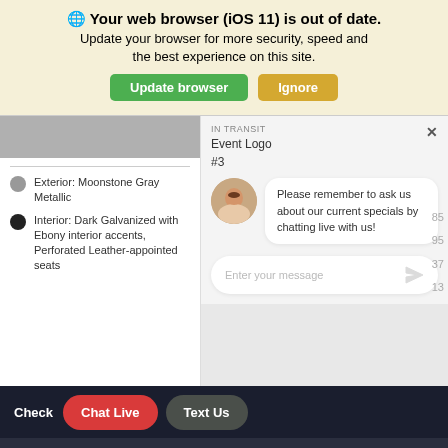🌐 Your web browser (iOS 11) is out of date. Update your browser for more security, speed and the best experience on this site.
Event Logo #3 | IN TRANSIT
Exterior: Moonstone Gray Metallic
Interior: Dark Galvanized with Ebony interior accents, Perforated Leather-appointed seats
Please remember to ask us about our current specials by chatting live with us!
Enter your message
Check
Chat Live
Text Us
What's My Car Worth?
Contact
Search